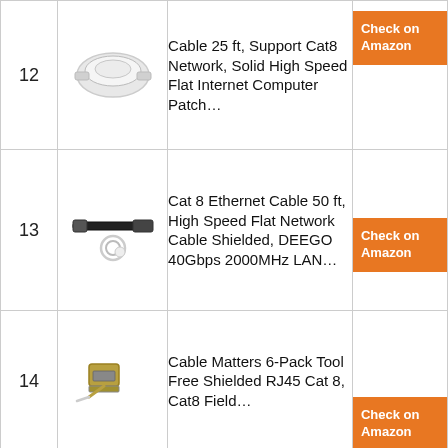| # | Image | Product | Link |
| --- | --- | --- | --- |
| 12 | [white flat cable image] | Cable 25 ft, Support Cat8 Network, Solid High Speed Flat Internet Computer Patch… | Check on Amazon |
| 13 | [black flat cable image] | Cat 8 Ethernet Cable 50 ft, High Speed Flat Network Cable Shielded, DEEGO 40Gbps 2000MHz LAN… | Check on Amazon |
| 14 | [RJ45 cable image] | Cable Matters 6-Pack Tool Free Shielded RJ45 Cat 8, Cat8 Field… | Check on Amazon |